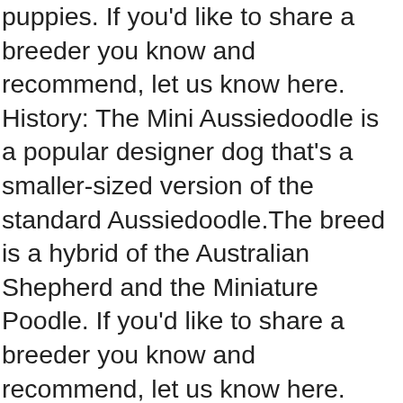puppies. If you'd like to share a breeder you know and recommend, let us know here. History: The Mini Aussiedoodle is a popular designer dog that's a smaller-sized version of the standard Aussiedoodle.The breed is a hybrid of the Australian Shepherd and the Miniature Poodle. If you'd like to share a breeder you know and recommend, let us know here. Please, let me start off by introducing myself. Aussiedoodle Breeders In Alaska (AK) We don't currently know of any Aussiedoodle breeders in Alaska. Also, take a look at the breeders who ship puppies. Ref ID: 27290 Buttons - Mini Aussiedoodle Puppy for Sale in Strasburg, OH. Also, take a look at the breeders who ship puppies. However, as with all dogs, it is important their owners provide them with rules, boundaries, and limitations as well as consistent leadership to ensure a well-behaved and balanced dog. Australian Shepherds are perceptive and bright as well as easy to train mixed with the high intelligence and humor of the Poodle. Email: [email protected]. Boy One Blue -